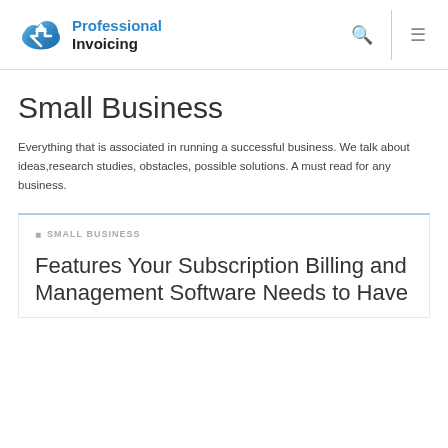[Figure (logo): Professional Invoicing logo with blue cloud icon and text]
Small Business
Everything that is associated in running a successful business. We talk about ideas,research studies, obstacles, possible solutions. A must read for any business.
SMALL BUSINESS
Features Your Subscription Billing and Management Software Needs to Have